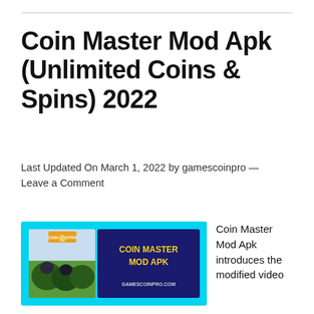Coin Master Mod Apk (Unlimited Coins & Spins) 2022
Last Updated On March 1, 2022 by gamescoinpro — Leave a Comment
[Figure (screenshot): Coin Master Mod Apk promotional banner on a cyan background. Shows game art with trees and 'COIN MASTER MOD APK' text in yellow on a dark blue banner, with 'GAMESCOINPRO.COM' below.]
Coin Master Mod Apk introduces the modified video